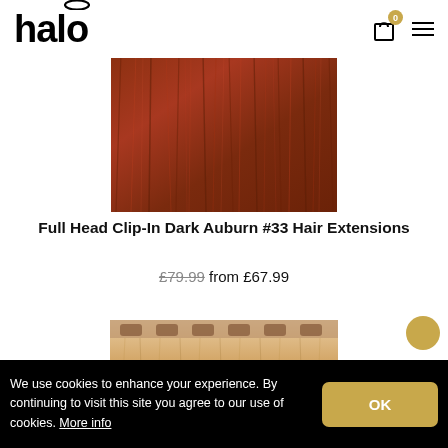halo
[Figure (photo): Close-up of dark auburn (color #33) clip-in hair extensions texture, reddish-brown hair strands]
Full Head Clip-In Dark Auburn #33 Hair Extensions
£79.99 from £67.99
[Figure (photo): Partial view of a second hair extension product at the bottom of the page]
We use cookies to enhance your experience. By continuing to visit this site you agree to our use of cookies. More info